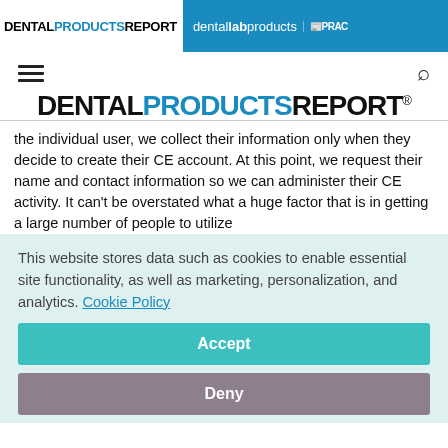DENTAL PRODUCTS REPORT | dental lab products | PRAC
[Figure (logo): Hamburger menu icon and search icon navigation bar]
[Figure (logo): DENTAL PRODUCTS REPORT main logo centered]
the individual user, we collect their information only when they decide to create their CE account. At this point, we request their name and contact information so we can administer their CE activity. It can't be overstated what a huge factor that is in getting a large number of people to utilize
This website stores data such as cookies to enable essential site functionality, as well as marketing, personalization, and analytics. Cookie Policy
Accept
Deny